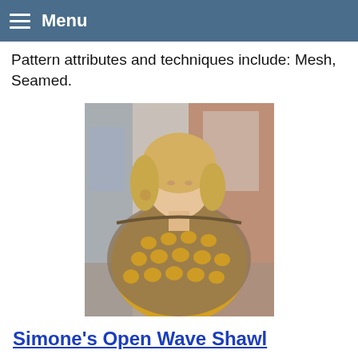Menu
Pattern attributes and techniques include: Mesh, Seamed.
[Figure (photo): A woman wearing a brown/taupe open mesh wave shawl over a mustard yellow top, photographed outdoors near a building.]
Simone’s Open Wave Shawl